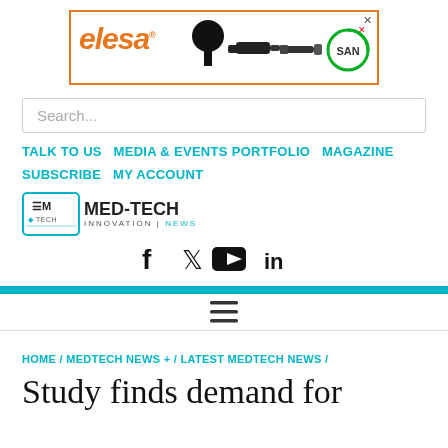[Figure (other): Elesa brand advertisement banner with logo, product images of industrial knobs/bolts, and SAN badge icon]
Search...
TALK TO US  MEDIA & EVENTS PORTFOLIO  MAGAZINE  SUBSCRIBE  MY ACCOUNT
[Figure (logo): Med-Tech Innovation News logo with teal square icon and bold text]
[Figure (other): Social media icons: Facebook, Twitter, YouTube, LinkedIn]
HOME / MEDTECH NEWS + / LATEST MEDTECH NEWS /
Study finds demand for